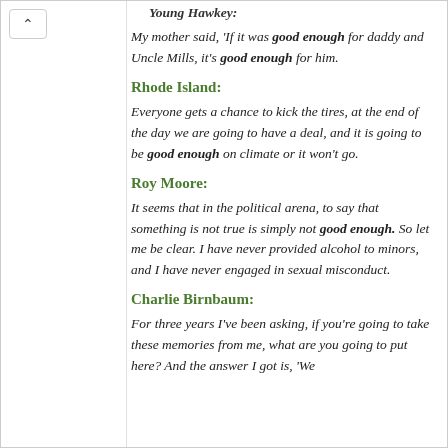Young Hawkey:
My mother said, 'If it was good enough for daddy and Uncle Mills, it's good enough for him.
Rhode Island:
Everyone gets a chance to kick the tires, at the end of the day we are going to have a deal, and it is going to be good enough on climate or it won't go.
Roy Moore:
It seems that in the political arena, to say that something is not true is simply not good enough. So let me be clear. I have never provided alcohol to minors, and I have never engaged in sexual misconduct.
Charlie Birnbaum:
For three years I've been asking, if you're going to take these memories from me, what are you going to put here? And the answer I got is, 'We